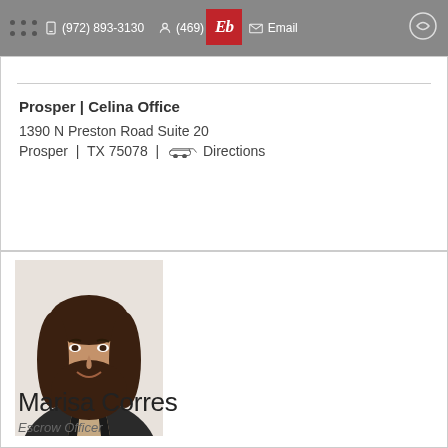(972) 893-3130  (469) [redacted]-4404  Email
Prosper | Celina Office
1390 N Preston Road Suite 20
Prosper | TX 75078 | Directions
[Figure (photo): Professional headshot photo of Marisa Corres, a woman with long dark brown hair wearing a black blazer, smiling against a light background.]
Marisa Corres
Escrow Officer